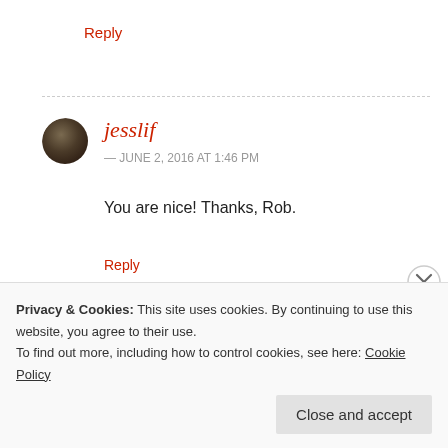Reply
jesslif
— JUNE 2, 2016 AT 1:46 PM
You are nice! Thanks, Rob.
Reply
Privacy & Cookies: This site uses cookies. By continuing to use this website, you agree to their use.
To find out more, including how to control cookies, see here: Cookie Policy
Close and accept